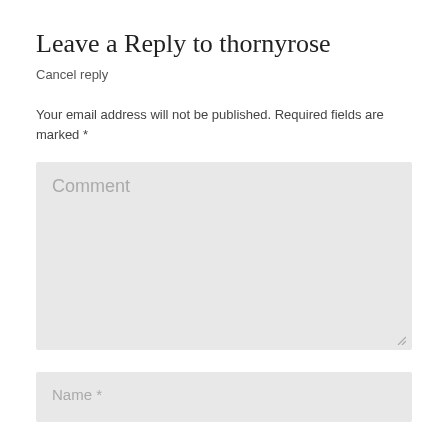Leave a Reply to thornyrose
Cancel reply
Your email address will not be published. Required fields are marked *
Comment
Name *